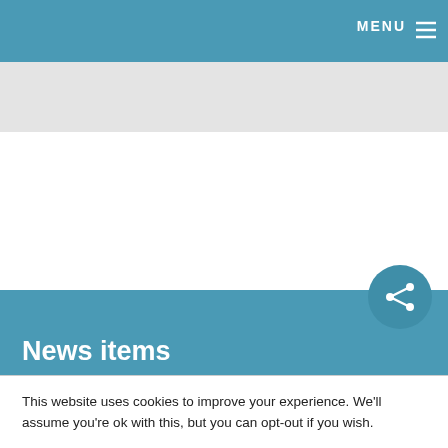MENU ≡
News items
> Get the most from your doctor's visit
This website uses cookies to improve your experience. We'll assume you're ok with this, but you can opt-out if you wish.
Accept  Reject  Read More